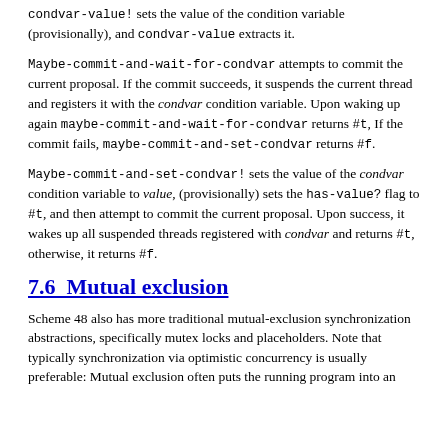condvar-value! sets the value of the condition variable (provisionally), and condvar-value extracts it.
Maybe-commit-and-wait-for-condvar attempts to commit the current proposal. If the commit succeeds, it suspends the current thread and registers it with the condvar condition variable. Upon waking up again maybe-commit-and-wait-for-condvar returns #t, If the commit fails, maybe-commit-and-set-condvar returns #f.
Maybe-commit-and-set-condvar! sets the value of the condvar condition variable to value, (provisionally) sets the has-value? flag to #t, and then attempt to commit the current proposal. Upon success, it wakes up all suspended threads registered with condvar and returns #t, otherwise, it returns #f.
7.6  Mutual exclusion
Scheme 48 also has more traditional mutual-exclusion synchronization abstractions, specifically mutex locks and placeholders. Note that typically synchronization via optimistic concurrency is usually preferable: Mutual exclusion often puts the running program into an